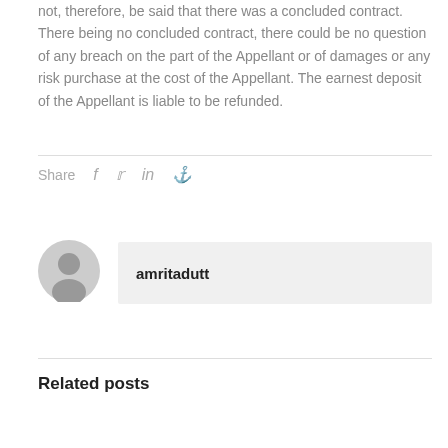not, therefore, be said that there was a concluded contract. There being no concluded contract, there could be no question of any breach on the part of the Appellant or of damages or any risk purchase at the cost of the Appellant. The earnest deposit of the Appellant is liable to be refunded.
Share
[Figure (illustration): User avatar placeholder showing a generic person silhouette in a grey circle]
amritadutt
Related posts